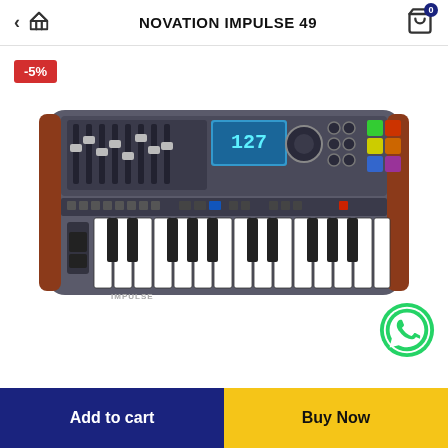NOVATION IMPULSE 49
-5%
[Figure (photo): Novation Impulse 49 MIDI keyboard controller with 49 keys, 8 drum pads, faders, knobs, and LCD display. A WhatsApp icon is overlaid at the bottom right.]
Add to cart
Buy Now